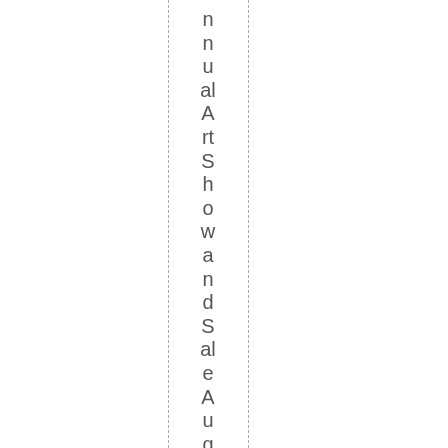nnual Art Show and Sale August 1 - 24.